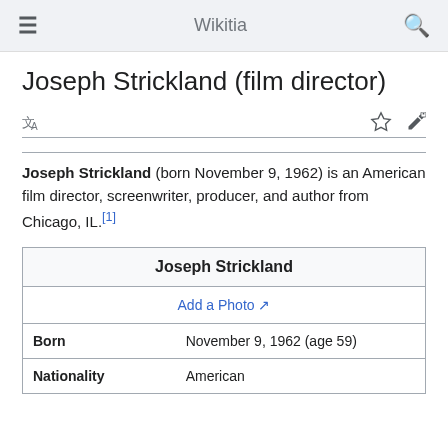Wikitia
Joseph Strickland (film director)
Joseph Strickland (born November 9, 1962) is an American film director, screenwriter, producer, and author from Chicago, IL.[1]
| Joseph Strickland |
| --- |
| Add a Photo ↗ |
| Born | November 9, 1962 (age 59) |
| Nationality | American |